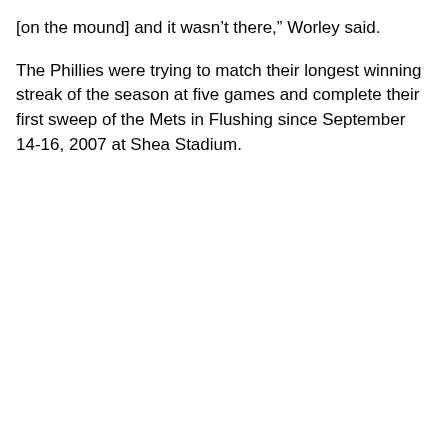[on the mound] and it wasn't there," Worley said.
The Phillies were trying to match their longest winning streak of the season at five games and complete their first sweep of the Mets in Flushing since September 14-16, 2007 at Shea Stadium.